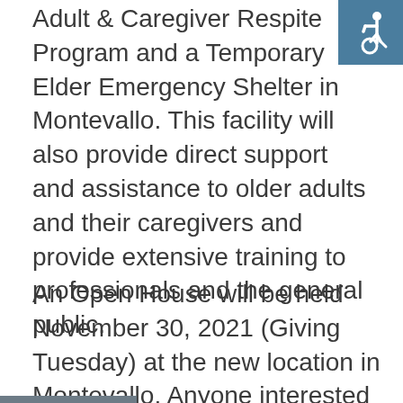[Figure (other): Accessibility icon (wheelchair symbol) in teal/blue square, top-right corner]
Adult & Caregiver Respite Program and a Temporary Elder Emergency Shelter in Montevallo. This facility will also provide direct support and assistance to older adults and their caregivers and provide extensive training to professionals and the general public.
[Figure (other): Gray navigation menu overlay with hamburger icon lines and MENU text]
An Open House will be held November 30, 2021 (Giving Tuesday) at the new location in Montevallo. Anyone interested to learn more or to take a tour can do so between 11:00 am and 2:00 pm.
As a society, much is done to prepare